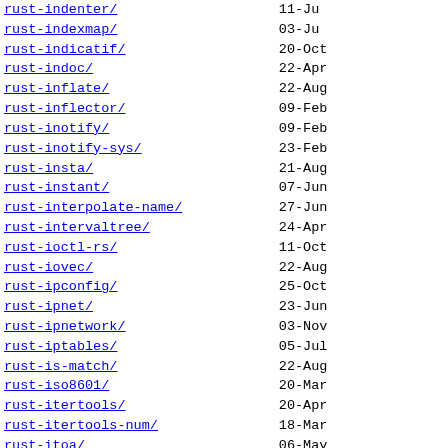| Name | Date |
| --- | --- |
| rust-indenter/ | 11-Ju |
| rust-indexmap/ | 03-Ju |
| rust-indicatif/ | 20-Oct |
| rust-indoc/ | 22-Apr |
| rust-inflate/ | 22-Aug |
| rust-inflector/ | 09-Feb |
| rust-inotify/ | 09-Feb |
| rust-inotify-sys/ | 23-Feb |
| rust-insta/ | 21-Aug |
| rust-instant/ | 07-Jun |
| rust-interpolate-name/ | 27-Jun |
| rust-intervaltree/ | 24-Apr |
| rust-ioctl-rs/ | 11-Oct |
| rust-iovec/ | 22-Aug |
| rust-ipconfig/ | 25-Oct |
| rust-ipnet/ | 23-Jun |
| rust-ipnetwork/ | 03-Nov |
| rust-iptables/ | 05-Jul |
| rust-is-match/ | 22-Aug |
| rust-iso8601/ | 20-Mar |
| rust-itertools/ | 20-Apr |
| rust-itertools-num/ | 18-Mar |
| rust-itoa/ | 06-May |
| rust-ivf/ | 11-Jul |
| rust-jargon-args/ | 04-Jan |
| rust-jobserver/ | 24-Oct |
| rust-jpeg-decoder/ | 22-Oct |
| rust-js-sys/ | 11-Jan |
| rust-json/ | 21-Jun |
| rust-keccak/ | 22-Aug |
| rust-kk... | 04-No |